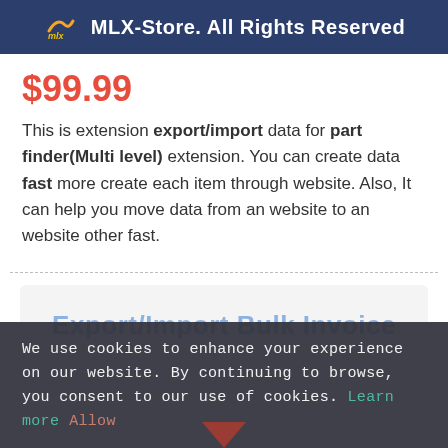MLX-Store. All Rights Reserved
$99.99
This is extension export/import data for part finder(Multi level) extension. You can create data fast more create each item through website. Also, It can help you move data from an website to an website other fast.
[Figure (screenshot): Preview area showing 'Export/Import Bulk Invoice' text partially visible]
We use cookies to enhance your experience on our website. By continuing to browse, you consent to our use of cookies. Learn more  Allow